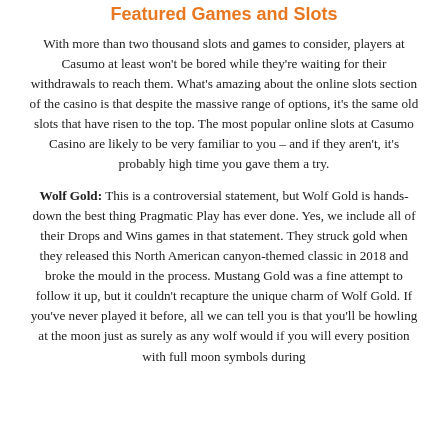Featured Games and Slots
With more than two thousand slots and games to consider, players at Casumo at least won't be bored while they're waiting for their withdrawals to reach them. What's amazing about the online slots section of the casino is that despite the massive range of options, it's the same old slots that have risen to the top. The most popular online slots at Casumo Casino are likely to be very familiar to you – and if they aren't, it's probably high time you gave them a try.
Wolf Gold: This is a controversial statement, but Wolf Gold is hands-down the best thing Pragmatic Play has ever done. Yes, we include all of their Drops and Wins games in that statement. They struck gold when they released this North American canyon-themed classic in 2018 and broke the mould in the process. Mustang Gold was a fine attempt to follow it up, but it couldn't recapture the unique charm of Wolf Gold. If you've never played it before, all we can tell you is that you'll be howling at the moon just as surely as any wolf would if you will every position with full moon symbols during